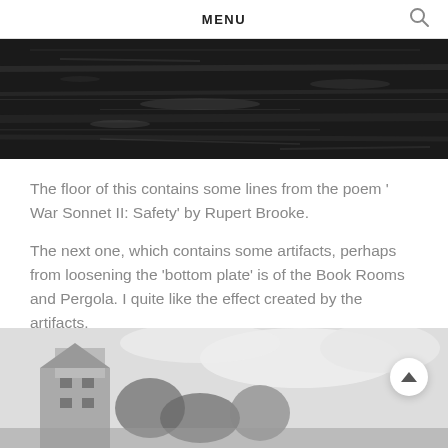MENU
[Figure (photo): Dark grainy black and white texture photo, close-up of a floor surface with faint lines.]
The floor of this contains some lines from the poem ' War Sonnet II: Safety' by Rupert Brooke.
The next one, which contains some artifacts, perhaps from loosening the 'bottom plate' is of the Book Rooms and Pergola. I quite like the effect created by the artifacts.
[Figure (photo): Black and white photo of a building/house with trees and sky in the background, partially visible at the bottom of the page.]